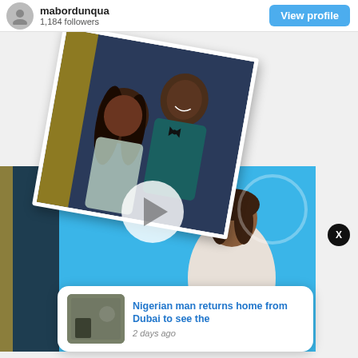mabordunqua
1,184 followers
View profile
[Figure (photo): Rotated photo of a couple at a formal event: a woman with long curly hair in a sparkly dress and a man in a teal tuxedo with a bow tie]
[Figure (screenshot): Video screenshot of a woman in a white outfit seated in a studio with blue background, with a play button overlay]
X
Nigerian man returns home from Dubai to see the
2 days ago